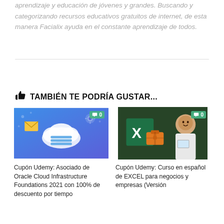aprendizaje y educación de jóvenes y grandes. Buscando y categorizando recursos educativos gratuitos de internet, de esta manera Facialix ayuda en el constante aprendizaje de todos.
👍 TAMBIÉN TE PODRÍA GUSTAR...
[Figure (screenshot): Thumbnail image for Oracle Cloud Infrastructure course with cloud icon on blue background, showing comment badge with 0]
Cupón Udemy: Asociado de Oracle Cloud Infrastructure Foundations 2021 con 100% de descuento por tiempo
[Figure (screenshot): Thumbnail image for Excel course with Excel logo and man holding tablet, showing comment badge with 0]
Cupón Udemy: Curso en español de EXCEL para negocios y empresas (Versión